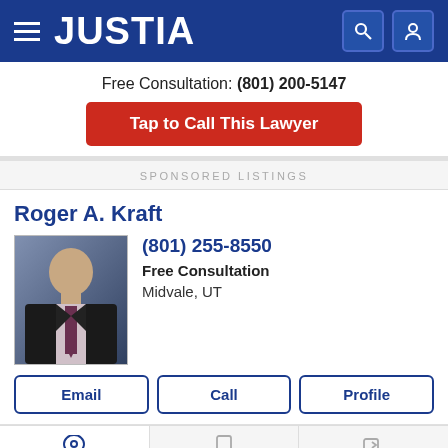JUSTIA
Free Consultation: (801) 200-5147
Tap to Call This Lawyer
SPONSORED LISTINGS
Roger A. Kraft
(801) 255-8550
Free Consultation
Midvale, UT
Email
Call
Profile
Recent (1)
Saved (0)
Compare (0/3)